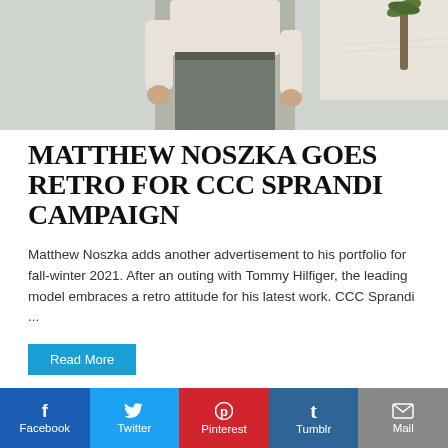[Figure (photo): Cropped photo of a man (Matthew Noszka) in a cream sweater and grey pants near a tennis net, palm tree visible in background]
MATTHEW NOSZKA GOES RETRO FOR CCC SPRANDI CAMPAIGN
Matthew Noszka adds another advertisement to his portfolio for fall-winter 2021. After an outing with Tommy Hilfiger, the leading model embraces a retro attitude for his latest work. CCC Sprandi ...
[Figure (photo): Partial photo showing folded striped fabric/shirt detail]
Facebook  Twitter  Pinterest  Tumblr  Mail